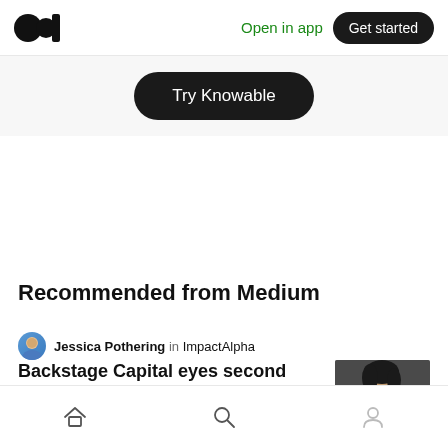Medium logo | Open in app | Get started
Try Knowable
Recommended from Medium
Jessica Pothering in ImpactAlpha
Backstage Capital eyes second fund for women- and minority-led startups
Rod Terence
Home | Search | Profile